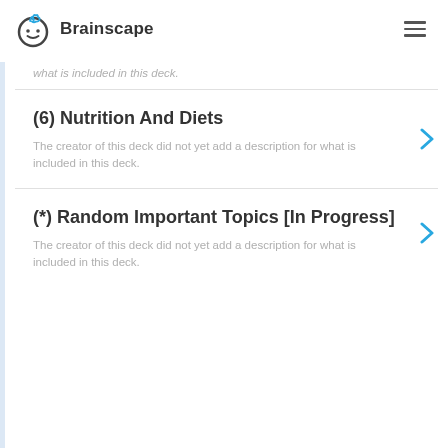Brainscape
what is included in this deck.
(6) Nutrition And Diets
The creator of this deck did not yet add a description for what is included in this deck.
(*) Random Important Topics [In Progress]
The creator of this deck did not yet add a description for what is included in this deck.